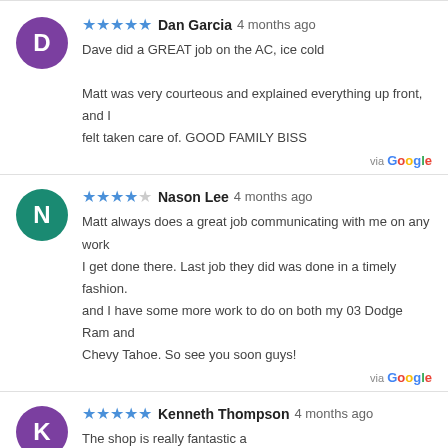Dan Garcia 4 months ago — Dave did a GREAT job on the AC, ice cold. Matt was very courteous and explained everything up front, and I felt taken care of. GOOD FAMILY BISS
via Google
Nason Lee 4 months ago — Matt always does a great job communicating with me on any work I get done there. Last job they did was done in a timely fashion. and I have some more work to do on both my 03 Dodge Ram and Chevy Tahoe. So see you soon guys!
via Google
Kenneth Thompson 4 months ago — The shop is really fantastic a